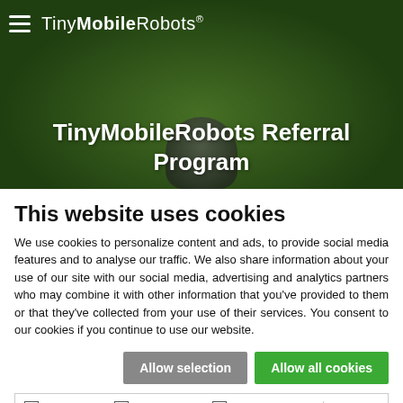[Figure (screenshot): TinyMobileRobots website hero section with dark green grass background, hamburger menu icon, TinyMobileRobots logo in white, and a robot silhouette. Title text 'TinyMobileRobots Referral Program' displayed in white bold text centered on the image.]
This website uses cookies
We use cookies to personalize content and ads, to provide social media features and to analyse our traffic. We also share information about your use of our site with our social media, advertising and analytics partners who may combine it with other information that you've provided to them or that they've collected from your use of their services. You consent to our cookies if you continue to use our website.
Allow selection | Allow all cookies
☑ Necessary  ☐ Preferences  ☐ Statistics  ☐ Marketing  Show details ∨